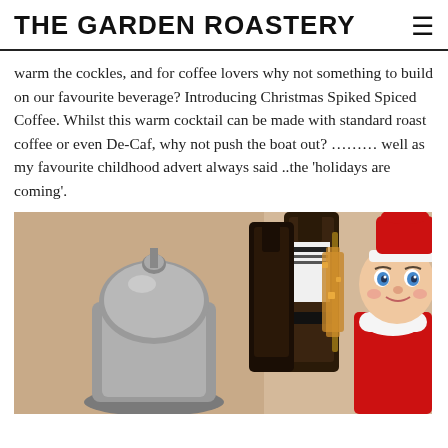THE GARDEN ROASTERY
warm the cockles, and for coffee lovers why not something to build on our favourite beverage? Introducing Christmas Spiked Spiced Coffee. Whilst this warm cocktail can be made with standard roast coffee or even De-Caf, why not push the boat out? ……… well as my favourite childhood advert always said ..the 'holidays are coming'.
[Figure (photo): Photo showing cocktail-making equipment including a metal French press, dark liqueur bottles, a sugar crystal stick, and an Elf on the Shelf toy doll in red costume with white hat against a beige background.]